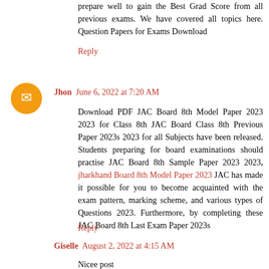prepare well to gain the Best Grad Score from all previous exams. We have covered all topics here. Question Papers for Exams Download
Reply
Jhon  June 6, 2022 at 7:20 AM
Download PDF JAC Board 8th Model Paper 2023 2023 for Class 8th JAC Board Class 8th Previous Paper 2023s 2023 for all Subjects have been released. Students preparing for board examinations should practise JAC Board 8th Sample Paper 2023 2023, jharkhand Board 8th Model Paper 2023 JAC has made it possible for you to become acquainted with the exam pattern, marking scheme, and various types of Questions 2023. Furthermore, by completing these JAC Board 8th Last Exam Paper 2023s
Reply
Giselle  August 2, 2022 at 4:15 AM
Nicee post